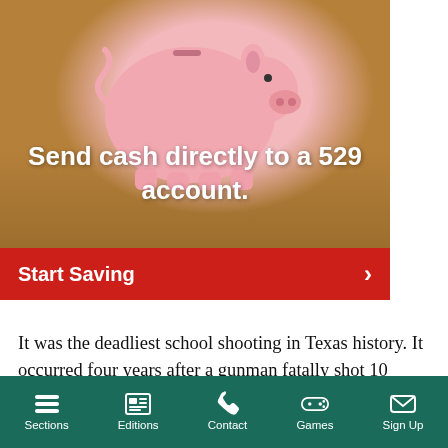[Figure (photo): Pink piggy bank on a wooden table with text overlay 'Send cash directly to a 529 account.' and a red 'Start Saving' button below]
It was the deadliest school shooting in Texas history. It occurred four years after a gunman fatally shot 10 people at Santa Fe High School in the Houston area and less than two weeks after a gunman opened fire at a supermarket in Buffalo, New York, killing 10 Black shoppers and workers in what officials have described as a hate crime.
Sections  Editions  Contact  Games  Sign Up